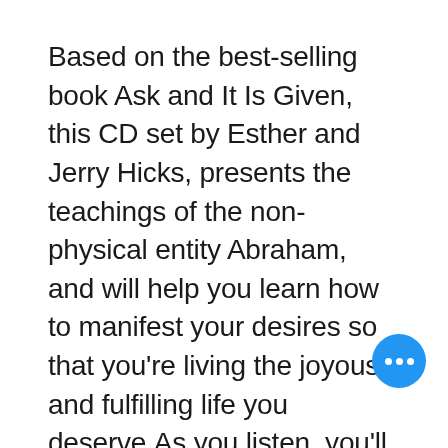Based on the best-selling book Ask and It Is Given, this CD set by Esther and Jerry Hicks, presents the teachings of the non-physical entity Abraham, and will help you learn how to manifest your desires so that you're living the joyous and fulfilling life you deserve.As you listen, you'll come to understand how the
[Figure (other): Blue circular button with three white horizontal dots (more/ellipsis button)]